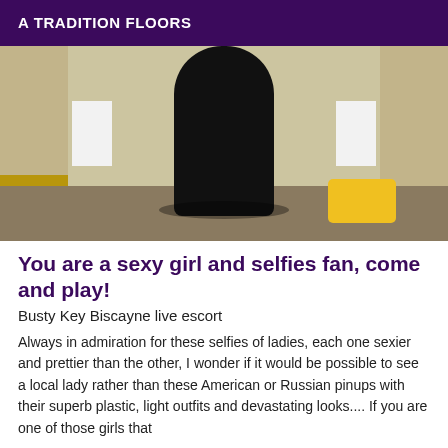A TRADITION FLOORS
[Figure (photo): A person dressed in black standing in what appears to be a carpeted hotel or office corridor. A yellow bag is visible in the lower right corner. White shelves or panels are on either side. The image is cropped to show only the lower body from approximately the waist down.]
You are a sexy girl and selfies fan, come and play!
Busty Key Biscayne live escort
Always in admiration for these selfies of ladies, each one sexier and prettier than the other, I wonder if it would be possible to see a local lady rather than these American or Russian pinups with their superb plastic, light outfits and devastating looks.... If you are one of those girls that